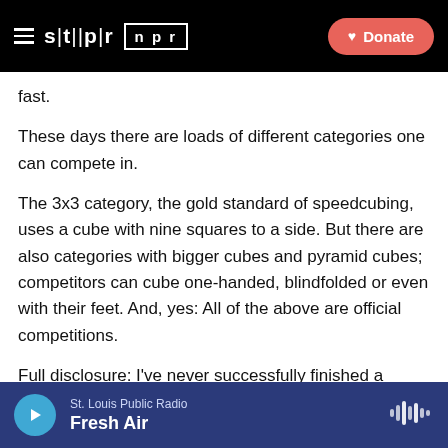STLPR NPR — Donate
fast.
These days there are loads of different categories one can compete in.
The 3x3 category, the gold standard of speedcubing, uses a cube with nine squares to a side. But there are also categories with bigger cubes and pyramid cubes; competitors can cube one-handed, blindfolded or even with their feet. And, yes: All of the above are official competitions.
Full disclosure: I've never successfully finished a Rubik's Cube, so these performances were pretty humbling.
St. Louis Public Radio — Fresh Air